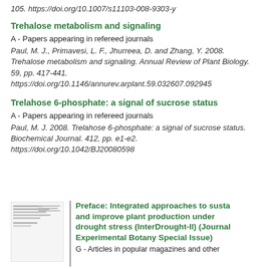105. https://doi.org/10.1007/s11103-008-9303-y
Trehalose metabolism and signaling
A - Papers appearing in refereed journals
Paul, M. J., Primavesi, L. F., Jhurreea, D. and Zhang, Y. 2008. Trehalose metabolism and signaling. Annual Review of Plant Biology. 59, pp. 417-441. https://doi.org/10.1146/annurev.arplant.59.032607.092945
Trelahose 6-phosphate: a signal of sucrose status
A - Papers appearing in refereed journals
Paul, M. J. 2008. Trelahose 6-phosphate: a signal of sucrose status. Biochemical Journal. 412, pp. e1-e2. https://doi.org/10.1042/BJ20080598
[Figure (other): Thumbnail image of a journal article or document page]
Preface: Integrated approaches to susta and improve plant production under drought stress (InterDrought-II) (Journal Experimental Botany Special Issue)
G - Articles in popular magazines and other